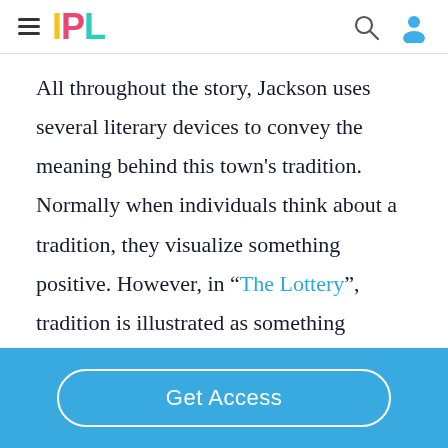IPL
All throughout the story, Jackson uses several literary devices to convey the meaning behind this town's tradition. Normally when individuals think about a tradition, they visualize something positive. However, in “The Lottery”, tradition is illustrated as something unfortunate and deadly. In “The Lottery”, Shirley Jackson shows the theme of
Get Access